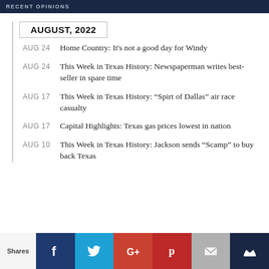RECENT OPINIONS
AUGUST, 2022
AUG 24 — Home Country: It's not a good day for Windy
AUG 24 — This Week in Texas History: Newspaperman writes best-seller in spare time
AUG 17 — This Week in Texas History: "Spirt of Dallas" air race casualty
AUG 17 — Capital Highlights: Texas gas prices lowest in nation
AUG 10 — This Week in Texas History: Jackson sends "Scamp" to buy back Texas
[Figure (infographic): Social sharing bar with icons for Facebook, Twitter, Google+, Pinterest, Email, and Crown/bookmark. Label 'Shares' on left.]